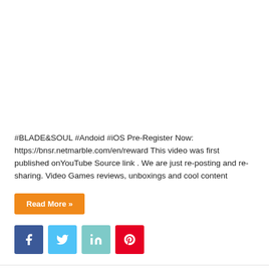#BLADE&SOUL #Andoid #iOS Pre-Register Now: https://bnsr.netmarble.com/en/reward This video was first published onYouTube Source link . We are just re-posting and re-sharing. Video Games reviews, unboxings and cool content
Read More »
[Figure (other): Social media share buttons: Facebook (blue), Twitter (light blue), LinkedIn (teal), Pinterest (red)]
FAUG Game Official Trailer | Faug Mobile Game Official